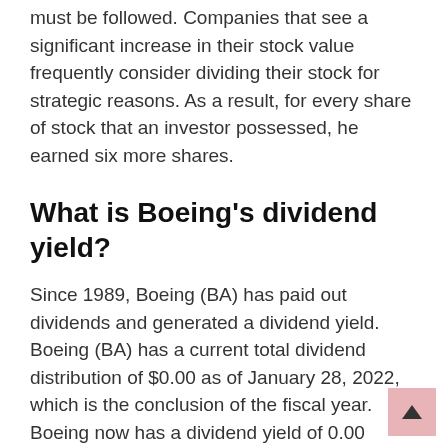must be followed. Companies that see a significant increase in their stock value frequently consider dividing their stock for strategic reasons. As a result, for every share of stock that an investor possessed, he earned six more shares.
What is Boeing's dividend yield?
Since 1989, Boeing (BA) has paid out dividends and generated a dividend yield. Boeing (BA) has a current total dividend distribution of $0.00 as of January 28, 2022, which is the conclusion of the fiscal year. Boeing now has a dividend yield of 0.00 percent as of January 28, 2022, which is the